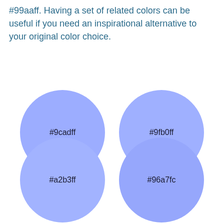#99aaff. Having a set of related colors can be useful if you need an inspirational alternative to your original color choice.
[Figure (illustration): Four colored circles arranged in a 2x2 grid, each labeled with a hex color code. Top-left: #9cadff (periwinkle blue), Top-right: #9fb0ff (periwinkle blue), Bottom-left: #a2b3ff (periwinkle blue), Bottom-right: #96a7fc (periwinkle blue).]